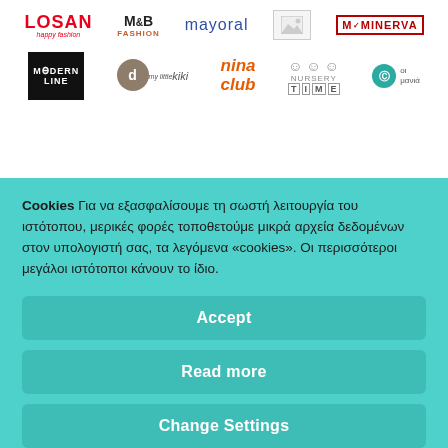[Figure (logo): Row of brand logos: LOSAN happy fashion, M&B Fashion, mayoral, placeholder image, MINERVA]
[Figure (logo): Row of brand logos: Modern Line, my little kiki, nina club, Nursery Time, small teal circle logo]
Cookies Για να εξασφαλίσουμε τη σωστή λειτουργία του ιστότοπου, μερικές φορές τοποθετούμε μικρά αρχεία δεδομένων στον υπολογιστή σας, τα λεγόμενα «cookies». Οι περισσότεροι μεγάλοι ιστότοποι κάνουν το ίδιο.
Accept
Read more
Change Settings
[Figure (logo): Row of brand logos at bottom: globe icon, CNAX kidswear, placeholder, violeta, playful]